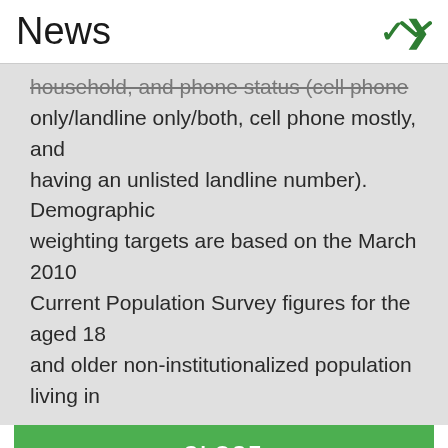News
household, and phone status (cell phone only/landline only/both, cell phone mostly, and having an unlisted landline number). Demographic weighting targets are based on the March 2010 Current Population Survey figures for the aged 18 and older non-institutionalized population living in
CLOSE
Gallup uses Cookies to ensure the best website experience. Continuing without changing Cookie settings assumes you consent to our use of cookies on this device. You can change this setting at any time, but that may impair functionality on our websites.
Privacy Statement   Site Terms of Use and Sale
Product Terms of Use   Adjust your cookie settings.